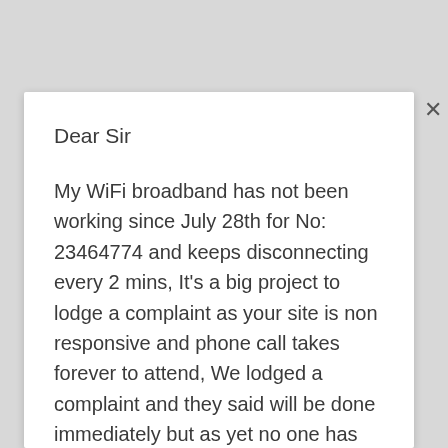Dear Sir
My WiFi broadband has not been working since July 28th for No: 23464774 and keeps disconnecting every 2 mins, It's a big project to lodge a complaint as your site is non responsive and phone call takes forever to attend, We lodged a complaint and they said will be done immediately but as yet no one has attended to the problem.